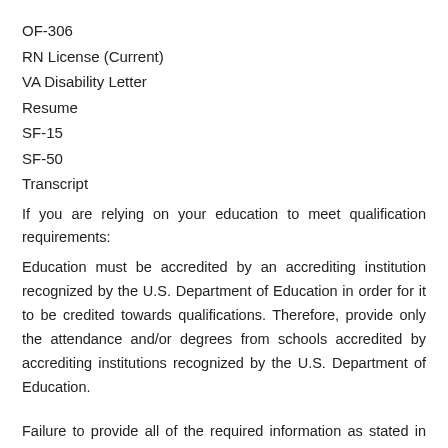OF-306
RN License (Current)
VA Disability Letter
Resume
SF-15
SF-50
Transcript
If you are relying on your education to meet qualification requirements:
Education must be accredited by an accrediting institution recognized by the U.S. Department of Education in order for it to be credited towards qualifications. Therefore, provide only the attendance and/or degrees from schools accredited by accrediting institutions recognized by the U.S. Department of Education.
Failure to provide all of the required information as stated in this